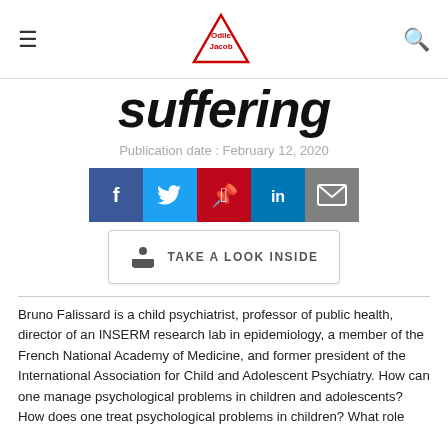Odile Jacob (logo)
Suffering
Publication date : February 12, 2020
[Figure (infographic): Social share buttons: Facebook (blue), Twitter (light blue), Pinterest (red), LinkedIn (blue), Email (grey), plus a 'Take a Look Inside' button with book icon]
Bruno Falissard is a child psychiatrist, professor of public health, director of an INSERM research lab in epidemiology, a member of the French National Academy of Medicine, and former president of the International Association for Child and Adolescent Psychiatry. How can one manage psychological problems in children and adolescents?
How does one treat psychological problems in children? What role